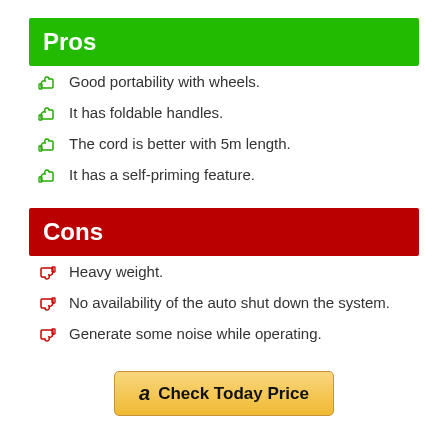Pros
Good portability with wheels.
It has foldable handles.
The cord is better with 5m length.
It has a self-priming feature.
Cons
Heavy weight.
No availability of the auto shut down the system.
Generate some noise while operating.
Check Today Price